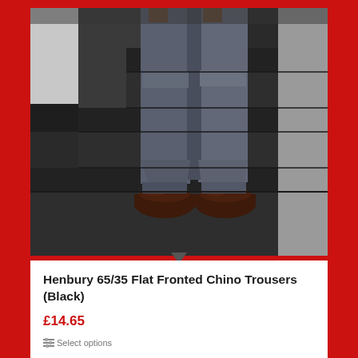[Figure (photo): Person's lower body wearing dark grey chino trousers and dark brown leather shoes, standing on dark grey steps/stairs]
Henbury 65/35 Flat Fronted Chino Trousers (Black)
£14.65
Select options